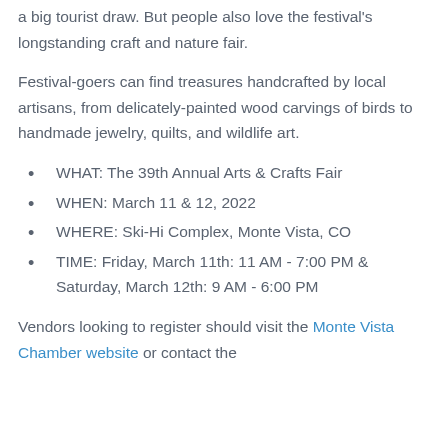a big tourist draw. But people also love the festival's longstanding craft and nature fair.
Festival-goers can find treasures handcrafted by local artisans, from delicately-painted wood carvings of birds to handmade jewelry, quilts, and wildlife art.
WHAT: The 39th Annual Arts & Crafts Fair
WHEN: March 11 & 12, 2022
WHERE: Ski-Hi Complex, Monte Vista, CO
TIME: Friday, March 11th: 11 AM - 7:00 PM & Saturday, March 12th: 9 AM - 6:00 PM
Vendors looking to register should visit the Monte Vista Chamber website or contact the